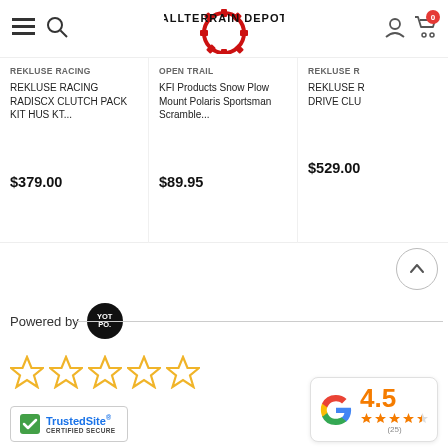ALLTERRAIN DEPOT
REKLUSE RACING
REKLUSE RACING RADISCX CLUTCH PACK KIT HUS KT...
$379.00
OPEN TRAIL
KFI Products Snow Plow Mount Polaris Sportsman Scramble...
$89.95
REKLUSE R
REKLUSE R DRIVE CLU
$529.00
Powered by
[Figure (other): Five empty gold star rating icons (no fill)]
[Figure (other): TrustedSite CERTIFIED SECURE badge with green checkmark]
[Figure (other): Google rating widget showing 4.5 stars and (25) reviews]